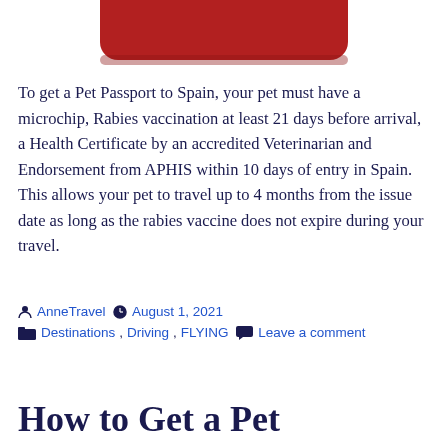[Figure (illustration): Partial red rounded rectangle button shape at top of page]
To get a Pet Passport to Spain, your pet must have a microchip, Rabies vaccination at least 21 days before arrival, a Health Certificate by an accredited Veterinarian and Endorsement from APHIS within 10 days of entry in Spain.  This allows your pet to travel up to 4 months from the issue date as long as the rabies vaccine does not expire during your travel.
AnneTravel  August 1, 2021  Destinations, Driving, FLYING  Leave a comment
How to Get a Pet